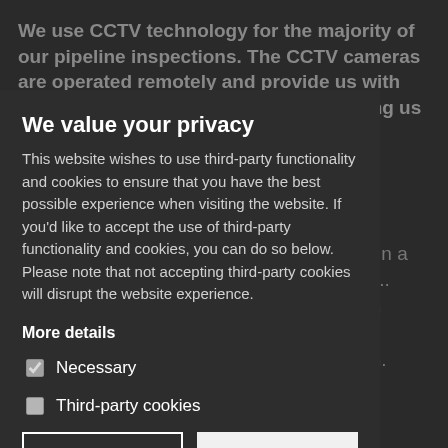We use CCTV technology for the majority of our pipeline inspections. The CCTV cameras are operated remotely and provide us with unbridled access to the pipeline, allowing us to assess the condition of the... necessary. WHAT IS HYDROSTATIC TESTING REQUIRED? In... hydrostatic testing is used to test for faults in a pipeline or drainage system. It can also be... place in order to test if the pipes have been repaired sufficiently and work at maximum capacity once the system is turned back on.
We value your privacy
This website wishes to use third-party functionality and cookies to ensure that you have the best possible experience when visiting the website. If you'd like to accept the use of third-party functionality and cookies, you can do so below. Please note that not accepting third-party cookies will disrupt the website experience.
More details
Necessary
Third-party cookies
Accept selected
Accept all